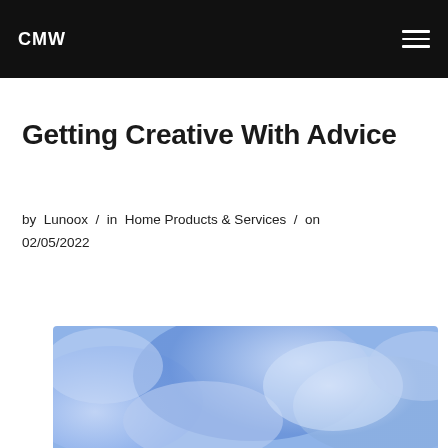CMW
Getting Creative With Advice
by Lunoox / in Home Products & Services / on 02/05/2022
[Figure (photo): Blue cloudy/smoky abstract background image, cropped at bottom of page]